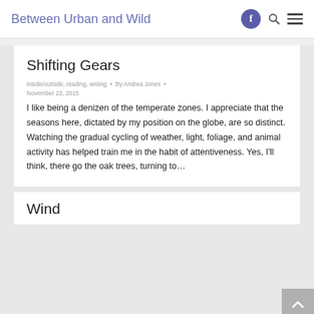Between Urban and Wild
Shifting Gears
inside/outside, reading, writing • By Andrea Jones • November 22, 2015
I like being a denizen of the temperate zones. I appreciate that the seasons here, dictated by my position on the globe, are so distinct. Watching the gradual cycling of weather, light, foliage, and animal activity has helped train me in the habit of attentiveness. Yes, I'll think, there go the oak trees, turning to…
Wind